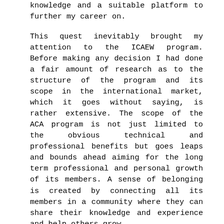knowledge and a suitable platform to further my career on.
This quest inevitably brought my attention to the ICAEW program. Before making any decision I had done a fair amount of research as to the structure of the program and its scope in the international market, which it goes without saying, is rather extensive. The scope of the ACA program is not just limited to the obvious technical and professional benefits but goes leaps and bounds ahead aiming for the long term professional and personal growth of its members. A sense of belonging is created by connecting all its members in a community where they can share their knowledge and experience and help others grow.
A key contributor in this system is DSR, which having achieved a world renowned status as a successful tuition provider, has made its mark in the field in a very short span of time. This in itself speaks volumes of the level of commitment and forward thinking approach adopted by the